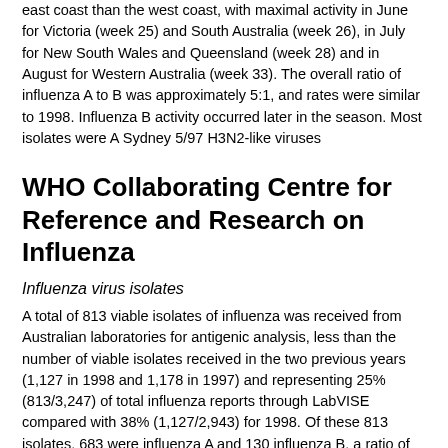east coast than the west coast, with maximal activity in June for Victoria (week 25) and South Australia (week 26), in July for New South Wales and Queensland (week 28) and in August for Western Australia (week 33). The overall ratio of influenza A to B was approximately 5:1, and rates were similar to 1998. Influenza B activity occurred later in the season. Most isolates were A Sydney 5/97 H3N2-like viruses
WHO Collaborating Centre for Reference and Research on Influenza
Influenza virus isolates
A total of 813 viable isolates of influenza was received from Australian laboratories for antigenic analysis, less than the number of viable isolates received in the two previous years (1,127 in 1998 and 1,178 in 1997) and representing 25% (813/3,247) of total influenza reports through LabVISE compared with 38% (1,127/2,943) for 1998. Of these 813 isolates, 683 were influenza A and 130 influenza B, a ratio of 5.3:1. The majority of influenza A strains were H3N2 subtype with only three H1N1 subtype isolates. Antigenic and genetic analysis indicated that the influenza A H3N2 subtype viruses were closely related to the A/Sydney/5/97 vaccine strain. As in the previous season there was some antigenic heterogeneity among these isolates, with approximately 30% reacting more strongly with antisera against a recent